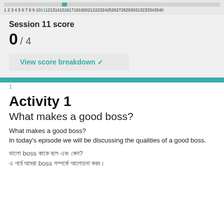[Figure (other): Progress bar with numbered steps 1 through 40, with a teal marker at position 11]
Session 11 score
0 / 4
View score breakdown ✓
1
Activity 1
What makes a good boss?
What makes a good boss?
In today's episode we will be discussing the qualities of a good boss.
ভালো boss কাকে বলে এবং কেন?
এ পর্বে আমরা boss সম্পর্কে আলোচনা করব।